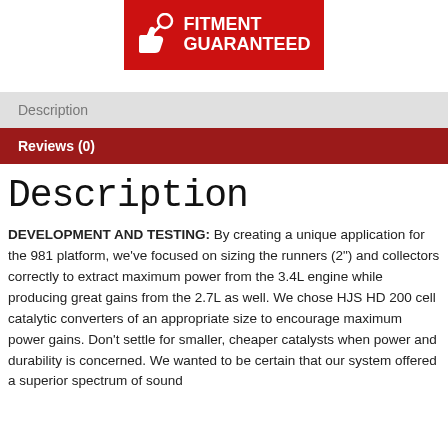[Figure (logo): Red banner with thumbs up wrench icon and text FITMENT GUARANTEED in white]
Description
Reviews (0)
Description
DEVELOPMENT AND TESTING: By creating a unique application for the 981 platform, we've focused on sizing the runners (2") and collectors correctly to extract maximum power from the 3.4L engine while producing great gains from the 2.7L as well. We chose HJS HD 200 cell catalytic converters of an appropriate size to encourage maximum power gains. Don't settle for smaller, cheaper catalysts when power and durability is concerned. We wanted to be certain that our system offered a superior spectrum of sound